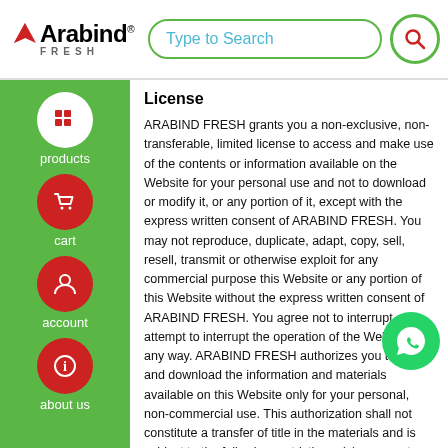[Figure (logo): Arabind Fresh logo with red arrow icon and search bar]
[Figure (illustration): Left green sidebar with navigation icons for products, cart, account, about us]
License
ARABIND FRESH grants you a non-exclusive, non-transferable, limited license to access and make use of the contents or information available on the Website for your personal use and not to download or modify it, or any portion of it, except with the express written consent of ARABIND FRESH. You may not reproduce, duplicate, adapt, copy, sell, resell, transmit or otherwise exploit for any commercial purpose this Website or any portion of this Website without the express written consent of ARABIND FRESH. You agree not to interrupt or attempt to interrupt the operation of the Website in any way. ARABIND FRESH authorizes you to view and download the information and materials available on this Website only for your personal, non-commercial use. This authorization shall not constitute a transfer of title in the materials and is subject to the following restrictions: (a) you must retain, on all copies of the materials downloaded, all copyright and other proprietary notices contained in the materials; (b) you may not modify the materials in any way or reproduce or publicly display, perform, or distribute or otherwise use them for any public or commercial purpose; and (c) you must not transfer the materials to any other person unless you give them notice of, and they agree to